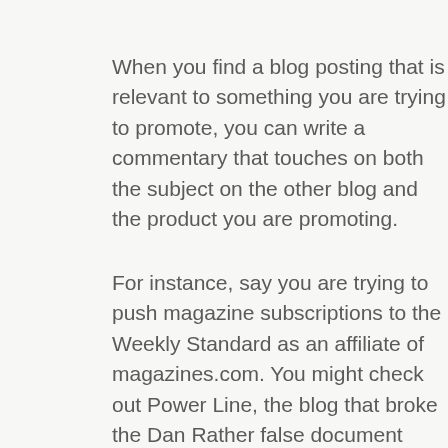When you find a blog posting that is relevant to something you are trying to promote, you can write a commentary that touches on both the subject on the other blog and the product you are promoting.
For instance, say you are trying to push magazine subscriptions to the Weekly Standard as an affiliate of magazines.com. You might check out Power Line, the blog that broke the Dan Rather false document story.
Check their last few posts and find something there that you could write about wit your own fresh take. Then weave in a reference to the Power Line blog posting with a link to that